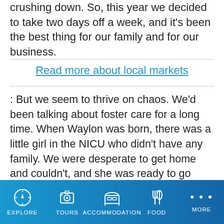crushing down. So, this year we decided to take two days off a week, and it's been the best thing for our family and for our business.
Read more about local markets
: But we seem to thrive on chaos. We'd been talking about foster care for a long time. When Waylon was born, there was a little girl in the NICU who didn't have any family. We were desperate to get home and couldn't, and she was ready to go home but no one came. We kept asking the nurses if anyone had come for her, social services were there trying to find somewhere to send her. It was heartbreaking. Mike looked at me and said, 'We'll take her'. We would have taken here there on the spot, but obviously the process was far more difficult than that. With the memory of this little girl in mind, we thought this
EXPLORE   TOURS   ACCOMMODATION   FOOD   MORE